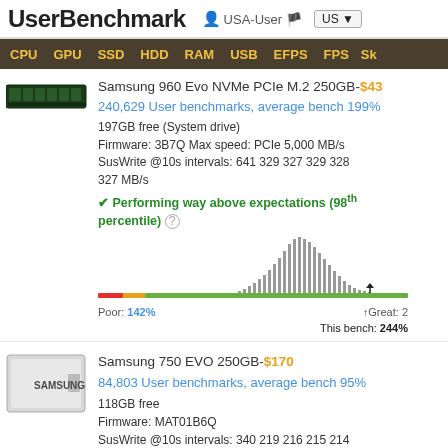UserBenchmark  USA-User  US
CPU  GPU  SSD  HDD  RAM  USB  EFPS  FPS  Sk
[Figure (photo): Samsung 960 Evo NVMe PCIe M.2 SSD chip photo]
Samsung 960 Evo NVMe PCIe M.2 250GB-$43
240,629 User benchmarks, average bench 199%
197GB free (System drive)
Firmware: 3B7Q Max speed: PCIe 5,000 MB/s
SusWrite @10s intervals: 641 329 327 329 328 327 MB/s
✔ Performing way above expectations (98th percentile)
[Figure (histogram): Distribution histogram for Samsung 960 Evo benchmark scores. Poor: 142%, Great: 2xx%, This bench: 244%]
[Figure (photo): Samsung 750 EVO 250GB SSD photo]
Samsung 750 EVO 250GB-$170
84,803 User benchmarks, average bench 95%
118GB free
Firmware: MAT01B6Q
SusWrite @10s intervals: 340 219 216 215 214 216 MB/s